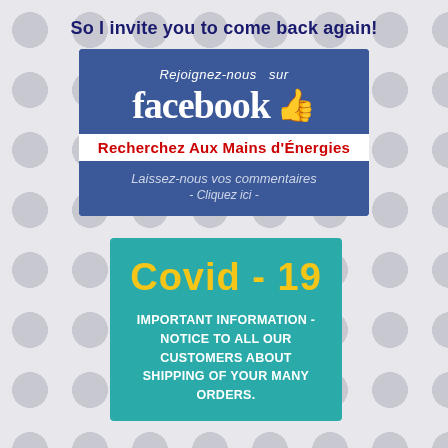So I invite you to come back again!
[Figure (infographic): Facebook promotional banner with blue background. Text: 'Rejoignez-nous sur facebook' with thumbs up icon. White section with red text: 'Recherchez Aux Mains d’Énergies'. Blue footer with italic text: 'Laissez-nous vos commentaires - Cliquez ici -']
[Figure (infographic): Covid-19 teal/green banner with yellow title 'Covid-19' and white bold uppercase text: 'IMPORTANT INFORMATION - NOTICE TO ALL OUR CUSTOMERS ABOUT SHIPPING OF YOUR MANY ORDERS.']